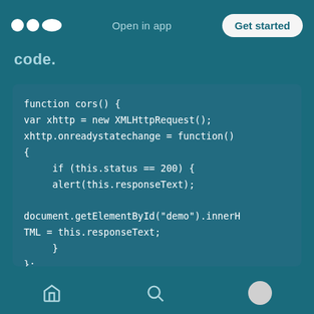Open in app  Get started
code.
[Figure (screenshot): Code block showing a JavaScript CORS function with XMLHttpRequest, including onreadystatechange handler, getElementById call, xhttp.open with attacker URL, and withCredentials setting.]
Home  Search  Profile